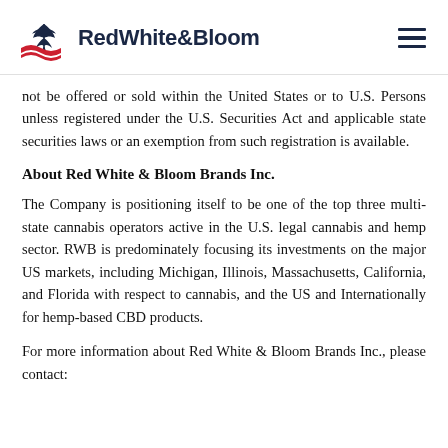RedWhite&Bloom
not be offered or sold within the United States or to U.S. Persons unless registered under the U.S. Securities Act and applicable state securities laws or an exemption from such registration is available.
About Red White & Bloom Brands Inc.
The Company is positioning itself to be one of the top three multi-state cannabis operators active in the U.S. legal cannabis and hemp sector. RWB is predominately focusing its investments on the major US markets, including Michigan, Illinois, Massachusetts, California, and Florida with respect to cannabis, and the US and Internationally for hemp-based CBD products.
For more information about Red White & Bloom Brands Inc., please contact: